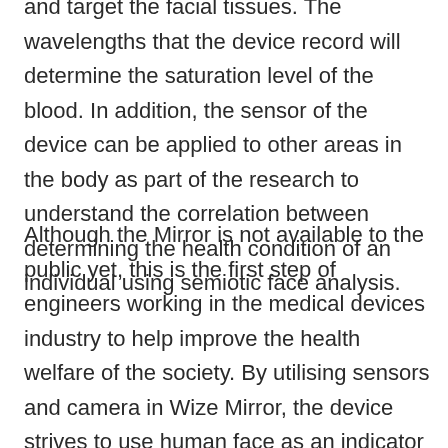and target the facial tissues. The wavelengths that the device record will determine the saturation level of the blood. In addition, the sensor of the device can be applied to other areas in the body as part of the research to understand the correlation between determining the health condition of an individual using semiotic face analysis.
Although the Mirror is not available to the public yet, this is the first step of engineers working in the medical devices industry to help improve the health welfare of the society. By utilising sensors and camera in Wize Mirror, the device strives to use human face as an indicator of the health condition of an individual.